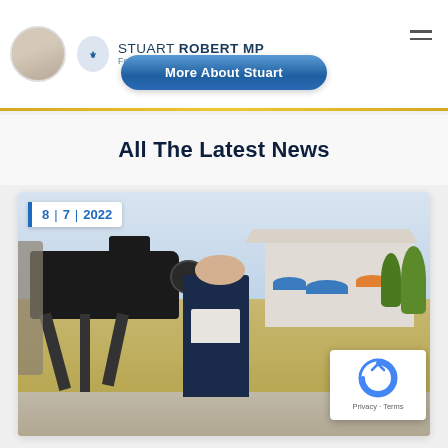Stuart Robert MP – Federal Member for Fadden
More About Stuart
All The Latest News
[Figure (photo): Stuart Robert MP standing outdoors near a building and camera tripod setup, with a date badge showing 8 | 7 | 2022]
[Figure (other): reCAPTCHA widget badge with Privacy and Terms links]